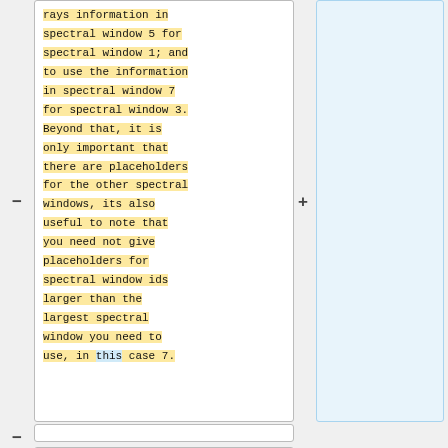rays information in spectral window 5 for spectral window 1; and to use the information in spectral window 7 for spectral window 3. Beyond that, it is only important that there are placeholders for the other spectral windows, its also useful to note that you need not give placeholders for spectral window ids larger than the largest spectral window you need to use, in this case 7.
You will also need to